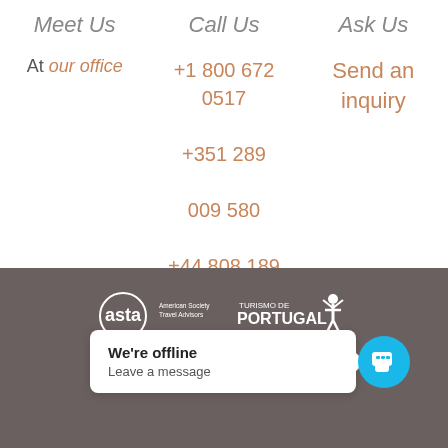Meet Us
Call Us
Ask Us
At our office
+1 800 672 0517
+351 289 009 580
+44 808 189 0647
Send an inquiry
[Figure (logo): ASTA American Society of Travel Advisors logo (white on dark background)]
[Figure (logo): Turismo de Portugal logo (white text and figure on dark background)]
We're offline
Leave a message
[Figure (logo): Algarve association logo (white on dark)]
[Figure (logo): ENXT or similar logo (partial, white on dark)]